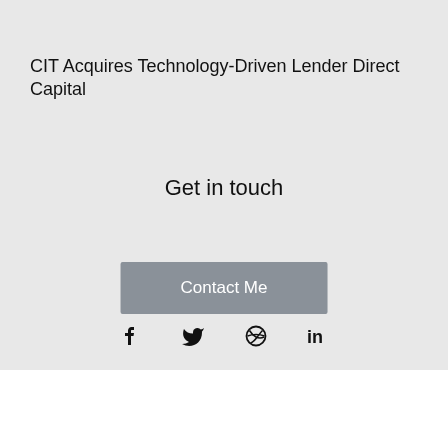CIT Acquires Technology-Driven Lender Direct Capital
Get in touch
Contact Me
[Figure (other): Social media icons: Facebook, Twitter, Dribbble, LinkedIn]